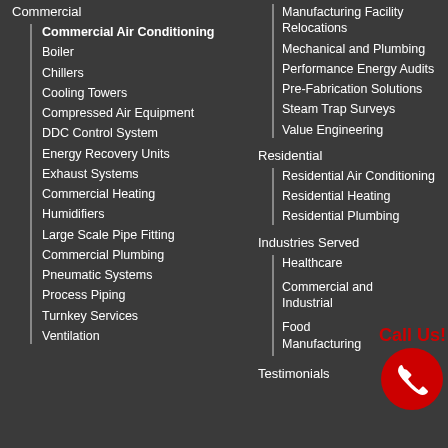Commercial
Commercial Air Conditioning
Boiler
Chillers
Cooling Towers
Compressed Air Equipment
DDC Control System
Energy Recovery Units
Exhaust Systems
Commercial Heating
Humidifiers
Large Scale Pipe Fitting
Commercial Plumbing
Pneumatic Systems
Process Piping
Turnkey Services
Ventilation
Manufacturing Facility Relocations
Mechanical and Plumbing
Performance Energy Audits
Pre-Fabrication Solutions
Steam Trap Surveys
Value Engineering
Residential
Residential Air Conditioning
Residential Heating
Residential Plumbing
Industries Served
Healthcare
Commercial and Industrial
Food Manufacturing
Testimonials
[Figure (illustration): Red circle button with white phone icon and 'Call Us!' text in red above it]